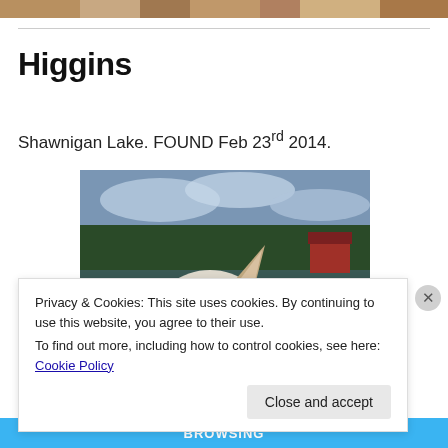[Figure (photo): Top cropped photo showing sandy/rocky terrain, barely visible at top of page]
Higgins
Shawnigan Lake. FOUND Feb 23rd 2014.
[Figure (photo): Photo of a white/light-colored dog (husky-type) with blue eye, peeking up into frame, with trees, water, cloudy sky, and a red building visible in background]
Privacy & Cookies: This site uses cookies. By continuing to use this website, you agree to their use.
To find out more, including how to control cookies, see here: Cookie Policy
Close and accept